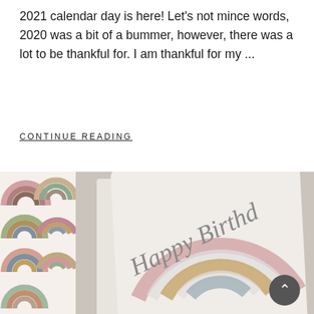2021 calendar day is here! Let's not mince words, 2020 was a bit of a bummer, however, there was a lot to be thankful for. I am thankful for my ...
CONTINUE READING
[Figure (photo): Left side shows a rainbow-patterned calendar strip with boho-style concentric rainbow arcs in muted pink, mauve, gold, teal, and brown tones on a light background. Right side shows a greeting card tilted at an angle with 'Happy Birthd...' written in cursive script over a watercolor rainbow design in pastel pink, muted gold, grey, and pale blue tones. A dark circular scroll-up button is visible in the bottom right corner.]